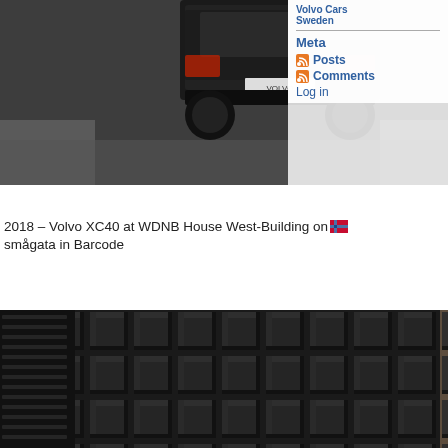[Figure (photo): Rear view of a dark Volvo XC40 car on a wet road, seen from above]
Volvo Cars Sweden
Meta
Posts
Comments
Log in
2018 – Volvo XC40 at WDNB House West-Building on Asmågata in Barcode
[Figure (photo): Close-up of a dark building facade made of three-dimensional black cube-shaped panels arranged in a grid pattern]